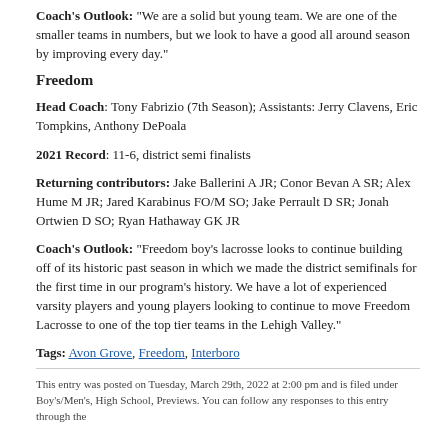Coach's Outlook: "We are a solid but young team. We are one of the smaller teams in numbers, but we look to have a good all around season by improving every day."
Freedom
Head Coach: Tony Fabrizio (7th Season); Assistants: Jerry Clavens, Eric Tompkins, Anthony DePoala
2021 Record: 11-6, district semi finalists
Returning contributors: Jake Ballerini A JR; Conor Bevan A SR; Alex Hume M JR; Jared Karabinus FO/M SO; Jake Perrault D SR; Jonah Ortwien D SO; Ryan Hathaway GK JR
Coach's Outlook: "Freedom boy's lacrosse looks to continue building off of its historic past season in which we made the district semifinals for the first time in our program's history. We have a lot of experienced varsity players and young players looking to continue to move Freedom Lacrosse to one of the top tier teams in the Lehigh Valley."
Tags: Avon Grove, Freedom, Interboro
This entry was posted on Tuesday, March 29th, 2022 at 2:00 pm and is filed under Boy's/Men's, High School, Previews. You can follow any responses to this entry through the